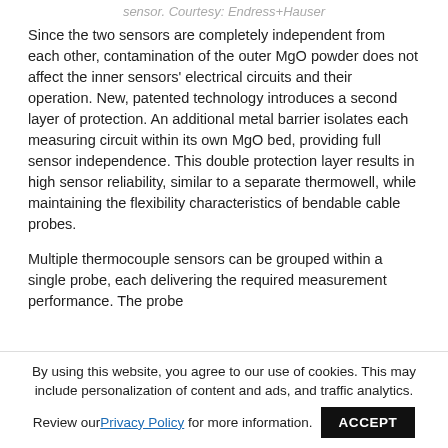sensor. Courtesy: Endress+Hauser
Since the two sensors are completely independent from each other, contamination of the outer MgO powder does not affect the inner sensors' electrical circuits and their operation. New, patented technology introduces a second layer of protection. An additional metal barrier isolates each measuring circuit within its own MgO bed, providing full sensor independence. This double protection layer results in high sensor reliability, similar to a separate thermowell, while maintaining the flexibility characteristics of bendable cable probes.
Multiple thermocouple sensors can be grouped within a single probe, each delivering the required measurement performance. The probe
By using this website, you agree to our use of cookies. This may include personalization of content and ads, and traffic analytics. Review our Privacy Policy for more information. ACCEPT